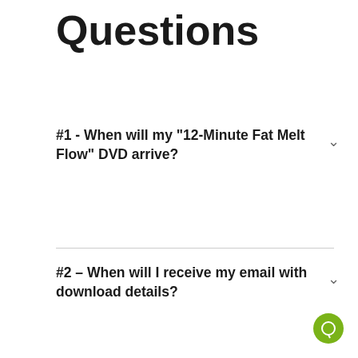Questions
#1 - When will my "12-Minute Fat Melt Flow" DVD arrive?
#2 – When will I receive my email with download details?
#3 – What kind of equipment do I need to do this program?
#4 – What if I don't see the email from Rick?